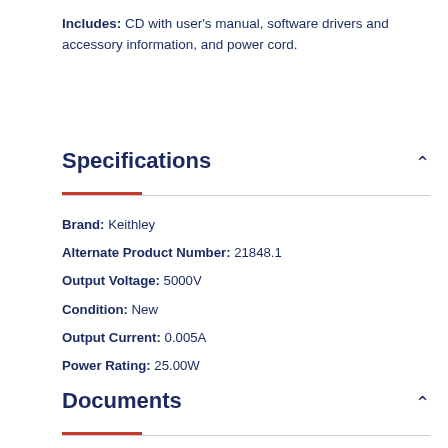Includes: CD with user's manual, software drivers and accessory information, and power cord.
Specifications
Brand: Keithley
Alternate Product Number: 21848.1
Output Voltage: 5000V
Condition: New
Output Current: 0.005A
Power Rating: 25.00W
Documents